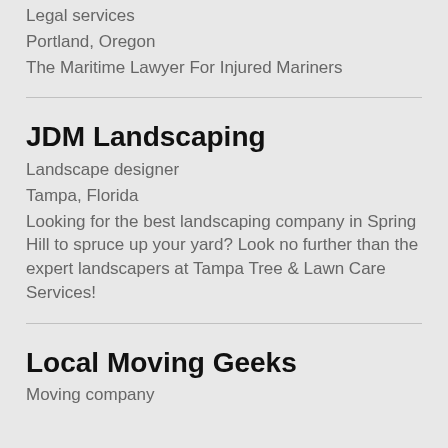Legal services
Portland, Oregon
The Maritime Lawyer For Injured Mariners
JDM Landscaping
Landscape designer
Tampa, Florida
Looking for the best landscaping company in Spring Hill to spruce up your yard? Look no further than the expert landscapers at Tampa Tree & Lawn Care Services!
Local Moving Geeks
Moving company